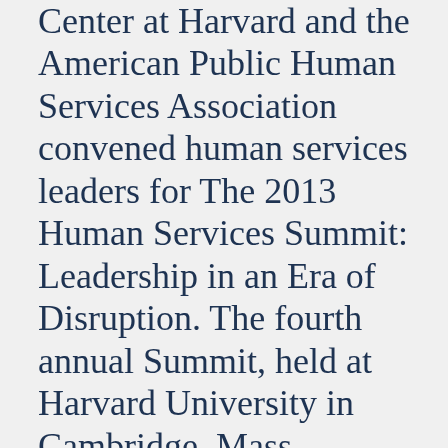Center at Harvard and the American Public Human Services Association convened human services leaders for The 2013 Human Services Summit: Leadership in an Era of Disruption. The fourth annual Summit, held at Harvard University in Cambridge, Mass., brought together the world's premier human services